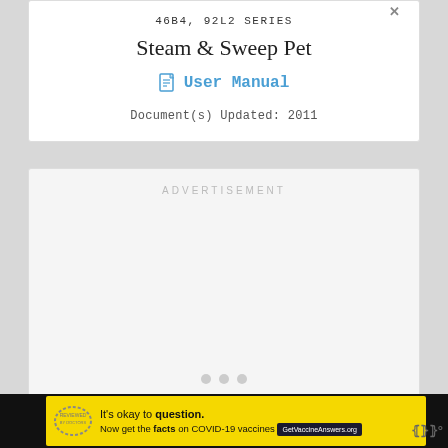46B4, 92L2 SERIES
Steam & Sweep Pet
User Manual
Document(s) Updated: 2011
ADVERTISEMENT
[Figure (other): Yellow advertisement banner at the bottom of the page with text: It's okay to question. Now get the facts on COVID-19 vaccines. GetVaccineAnswers.org]
It's okay to question. Now get the facts on COVID-19 vaccines GetVaccineAnswers.org